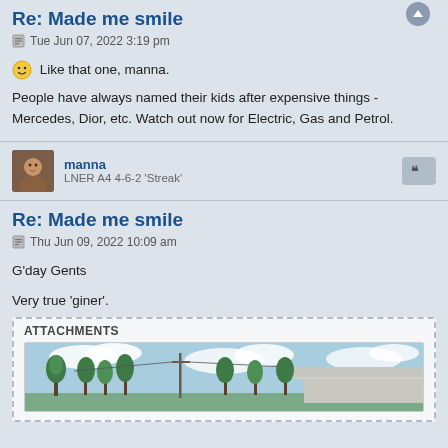Re: Made me smile
Tue Jun 07, 2022 3:19 pm
😊 Like that one, manna.
People have always named their kids after expensive things - Mercedes, Dior, etc. Watch out now for Electric, Gas and Petrol.
manna
LNER A4 4-6-2 'Streak'
Re: Made me smile
Thu Jun 09, 2022 10:09 am
G'day Gents
Very true 'giner'.
[Figure (photo): Outdoor scene with trees, power lines, and a building with a corrugated roof under a cloudy blue sky]